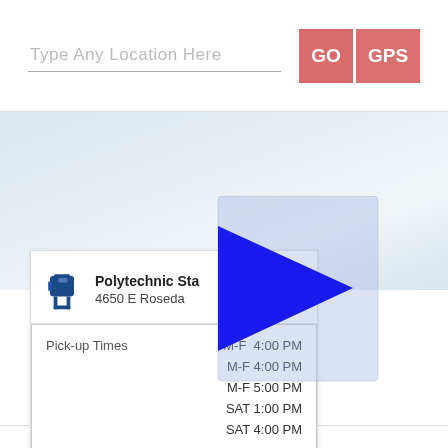Type Any Location Here
GO
GPS
[Figure (screenshot): Map background showing a light blue/grey gradient representing a map area]
[Figure (illustration): Blue arrow cursor/pointer overlay on map]
Polytechnic Sta[tion]
4650 E Roseda[le]
| Pick-up Times | M-F | 4:00 PM |
|  | M-F | 4:00 PM |
|  | M-F | 5:00 PM |
|  | SAT | 1:00 PM |
|  | SAT | 4:00 PM |
76105